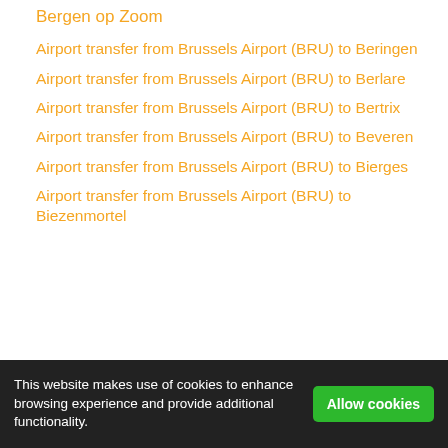Bergen op Zoom
Airport transfer from Brussels Airport (BRU) to Beringen
Airport transfer from Brussels Airport (BRU) to Berlare
Airport transfer from Brussels Airport (BRU) to Bertrix
Airport transfer from Brussels Airport (BRU) to Beveren
Airport transfer from Brussels Airport (BRU) to Bierges
Airport transfer from Brussels Airport (BRU) to Biezenmortel
This website makes use of cookies to enhance browsing experience and provide additional functionality.